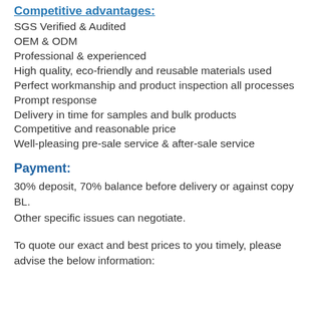Competitive advantages:
SGS Verified & Audited
OEM & ODM
Professional & experienced
High quality, eco-friendly and reusable materials used
Perfect workmanship and product inspection all processes
Prompt response
Delivery in time for samples and bulk products
Competitive and reasonable price
Well-pleasing pre-sale service & after-sale service
Payment:
30% deposit, 70% balance before delivery or against copy BL.
Other specific issues can negotiate.
To quote our exact and best prices to you timely, please advise the below information: